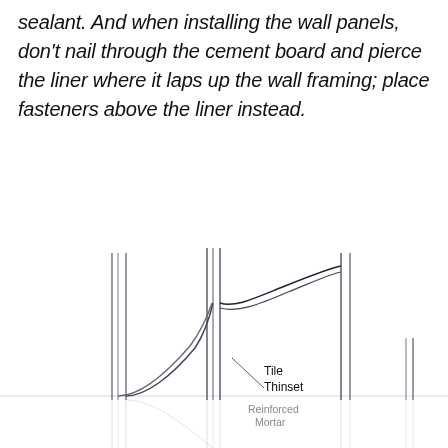sealant. And when installing the wall panels, don't nail through the cement board and pierce the liner where it laps up the wall framing; place fasteners above the liner instead.
[Figure (engineering-diagram): Technical cross-section diagram showing wall framing with tile, thinset, and reinforced mortar layers. Multiple vertical framing members shown, with curved lines indicating the liner lapping up the wall. Labels: Tile, Thinset, Reinforced Mortar. The diagram appears partially cut off at the bottom.]